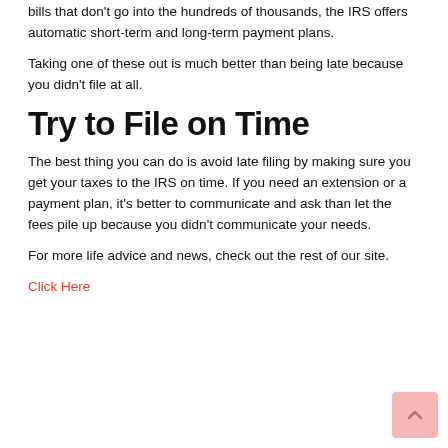bills that don't go into the hundreds of thousands, the IRS offers automatic short-term and long-term payment plans.
Taking one of these out is much better than being late because you didn't file at all.
Try to File on Time
The best thing you can do is avoid late filing by making sure you get your taxes to the IRS on time. If you need an extension or a payment plan, it's better to communicate and ask than let the fees pile up because you didn't communicate your needs.
For more life advice and news, check out the rest of our site.
Click Here